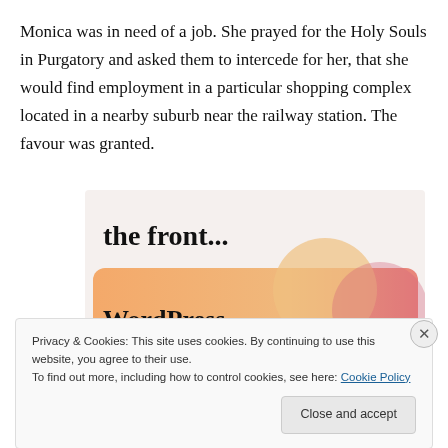Monica was in need of a job. She prayed for the Holy Souls in Purgatory and asked them to intercede for her, that she would find employment in a particular shopping complex located in a nearby suburb near the railway station. The favour was granted.
[Figure (screenshot): Advertisement image with light background showing text 'the front...' in large font on a cream/beige area, and below that a rounded rectangle with orange/peach gradient background containing bold text 'WordPress in the back.' with decorative circles in pink/mauve tones.]
Privacy & Cookies: This site uses cookies. By continuing to use this website, you agree to their use.
To find out more, including how to control cookies, see here: Cookie Policy
Close and accept